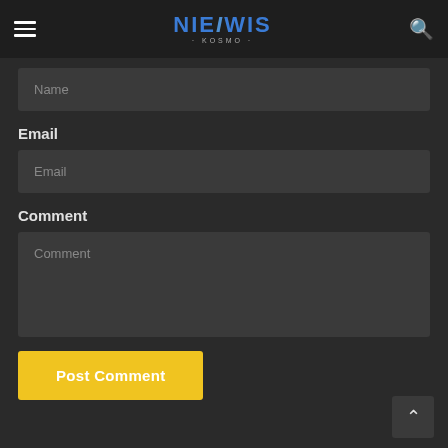NIEIWIS
Name
Email
Email
Comment
Comment
Post Comment